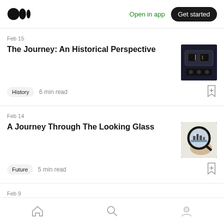Medium logo | Open in app | Get started
Feb 15
The Journey: An Historical Perspective
History  6 min read
Feb 14
A Journey Through The Looking Glass
Future  5 min read
Feb 9
Artificial Intelligence May Predict Breast
Home | Search | Profile